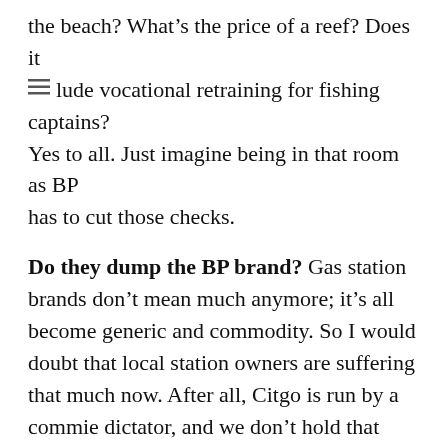the beach? What's the price of a reef? Does it [≡] lude vocational retraining for fishing captains? Yes to all. Just imagine being in that room as BP has to cut those checks.
Do they dump the BP brand? Gas station brands don't mean much anymore; it's all become generic and commodity. So I would doubt that local station owners are suffering that much now. After all, Citgo is run by a commie dictator, and we don't hold that against our local Citgo dockmaster. Gas is gas, and we need it. But brand names do come into play when someone is choosing what gas to sell. Do I flag myself as BP, Chevron, Mobil, or Shell? Well, we know one brand that won't do. BP